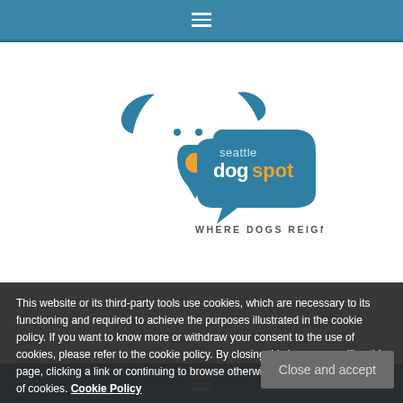[Figure (logo): Seattle DogSpot logo - a dog face outline with a speech bubble/location pin containing an orange dot, with text 'seattle dogspot WHERE DOGS REIGN']
This website or its third-party tools use cookies, which are necessary to its functioning and required to achieve the purposes illustrated in the cookie policy. If you want to know more or withdraw your consent to the use of cookies, please refer to the cookie policy. By closing this banner, scrolling this page, clicking a link or continuing to browse otherwise, you agree to the use of cookies. Cookie Policy
Close and accept